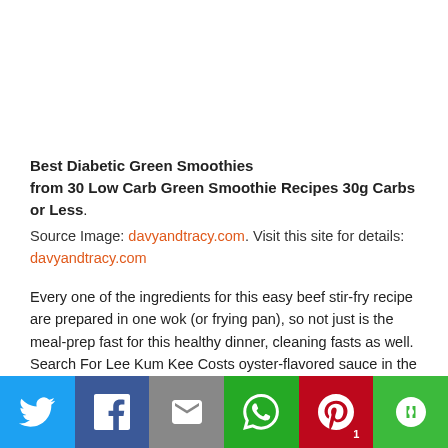Best Diabetic Green Smoothies from 30 Low Carb Green Smoothie Recipes 30g Carbs or Less.
Source Image: davyandtracy.com. Visit this site for details: davyandtracy.com
Every one of the ingredients for this easy beef stir-fry recipe are prepared in one wok (or frying pan), so not just is the meal-prep fast for this healthy dinner, cleaning fasts as well. Search For Lee Kum Kee Costs oyster-flavored sauce in the Asian-foods aisle of your food store. It has one of the most focused oyster flavor.
Social share bar: Twitter, Facebook, Email, WhatsApp, Pinterest (1), More